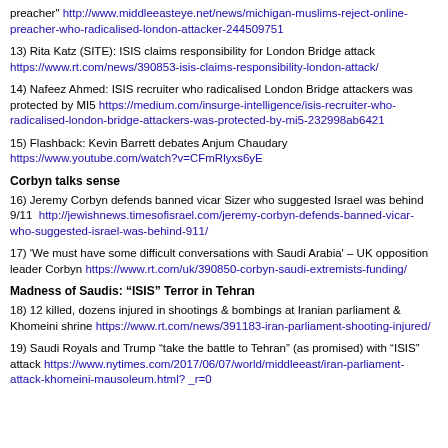preacher" http://www.middleeasteye.net/news/michigan-muslims-reject-online-preacher-who-radicalised-london-attacker-244509751
13) Rita Katz (SITE): ISIS claims responsibility for London Bridge attack https://www.rt.com/news/390853-isis-claims-responsibility-london-attack/
14) Nafeez Ahmed: ISIS recruiter who radicalised London Bridge attackers was protected by MI5 https://medium.com/insurge-intelligence/isis-recruiter-who-radicalised-london-bridge-attackers-was-protected-by-mi5-232998ab6421
15) Flashback: Kevin Barrett debates Anjum Chaudary https://www.youtube.com/watch?v=CFmRlyxs6yE
Corbyn talks sense
16) Jeremy Corbyn defends banned vicar Sizer who suggested Israel was behind 9/11  http://jewishnews.timesofisrael.com/jeremy-corbyn-defends-banned-vicar-who-suggested-israel-was-behind-911/
17) 'We must have some difficult conversations with Saudi Arabia' – UK opposition leader Corbyn https://www.rt.com/uk/390850-corbyn-saudi-extremists-funding/
Madness of Saudis: “ISIS” Terror in Tehran
18) 12 killed, dozens injured in shootings & bombings at Iranian parliament & Khomeini shrine https://www.rt.com/news/391183-iran-parliament-shooting-injured/
19) Saudi Royals and Trump “take the battle to Tehran” (as promised) with “ISIS” attack https://www.nytimes.com/2017/06/07/world/middleeast/iran-parliament-attack-khomeini-mausoleum.html?_r=0